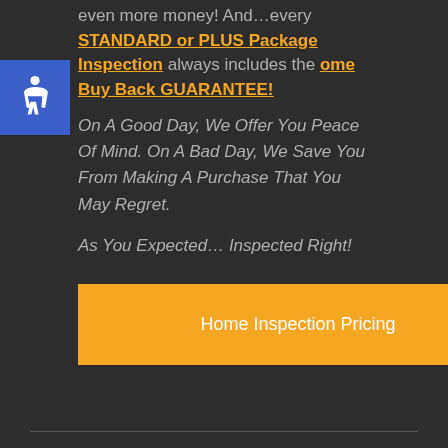even more money! And…every STANDARD or PLUS Package Inspection always includes the Home Buy Back GUARANTEE!
On A Good Day, We Offer You Peace Of Mind. On A Bad Day, We Save You From Making A Purchase That You May Regret.
As You Expected… Inspected Right!
Home Inspection Pricing